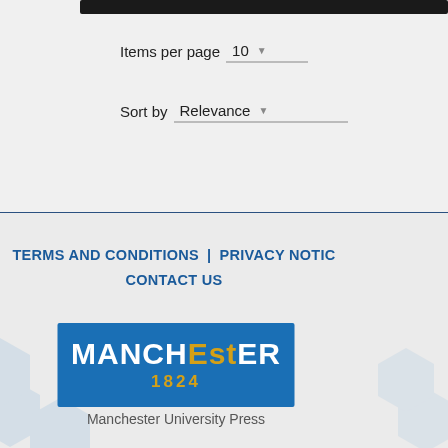[Figure (screenshot): Partial black navigation bar at top of page]
Items per page  10
Sort by  Relevance
TERMS AND CONDITIONS | PRIVACY NOTICE  CONTACT US
[Figure (logo): Manchester University Press logo - blue rectangle with MANCHESTER 1824 text]
Manchester University Press